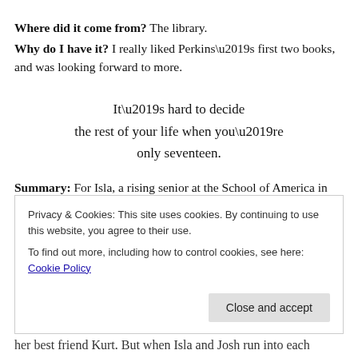Where did it come from? The library.
Why do I have it? I really liked Perkins’s first two books, and was looking forward to more.
It’s hard to decide
the rest of your life when you’re
only seventeen.
Summary: For Isla, a rising senior at the School of America in Paris, her classmate Josh has always seemed out of reach. She’s had a crush on him forever, but he’s
her best friend Kurt. But when Isla and Josh run into each
Privacy & Cookies: This site uses cookies. By continuing to use this website, you agree to their use.
To find out more, including how to control cookies, see here: Cookie Policy
Close and accept